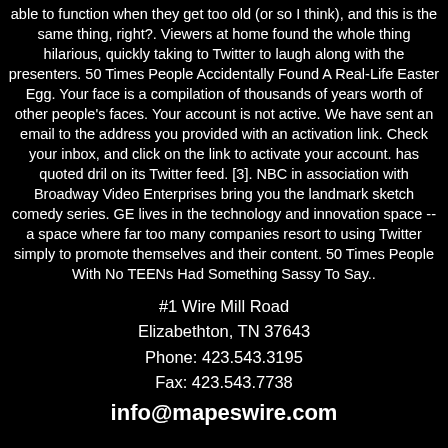able to function when they get too old (or so I think), and this is the same thing, right?. Viewers at home found the whole thing hilarious, quickly taking to Twitter to laugh along with the presenters. 50 Times People Accidentally Found A Real-Life Easter Egg. Your face is a compilation of thousands of years worth of other people's faces. Your account is not active. We have sent an email to the address you provided with an activation link. Check your inbox, and click on the link to activate your account. has quoted dril on its Twitter feed. [3]. NBC in association with Broadway Video Enterprises bring you the landmark sketch comedy series. GE lives in the technology and innovation space -- a space where far too many companies resort to using Twitter simply to promote themselves and their content. 50 Times People With No TEENs Had Something Sassy To Say..
#1 Wire Mill Road
Elizabethton, TN 37643
Phone: 423.543.3195
Fax: 423.543.7738
info@mapeswire.com